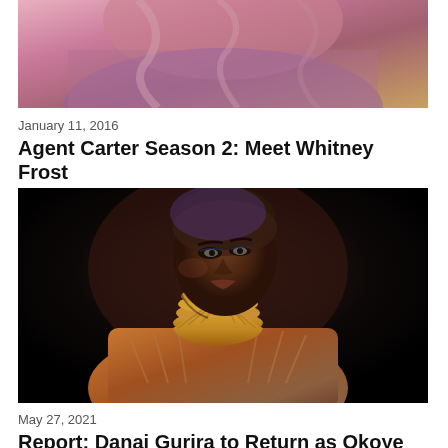[Figure (photo): Partial image of a woman with curly hair wearing a purple top, cropped at top of page]
January 11, 2016
Agent Carter Season 2: Meet Whitney Frost
[Figure (photo): A woman in elaborate Wakandan warrior costume with gold neck rings and ornate armor, posed against a dark background]
May 27, 2021
Report: Danai Gurira to Return as Okoye for Disney+